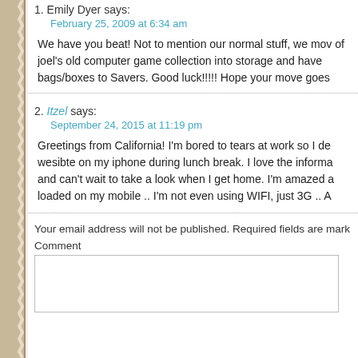1. Emily Dyer says:
February 25, 2009 at 6:34 am

We have you beat! Not to mention our normal stuff, we mov of joel's old computer game collection into storage and have bags/boxes to Savers. Good luck!!!!! Hope your move goes
2. Itzel says:
September 24, 2015 at 11:19 pm

Greetings from California! I'm bored to tears at work so I de wesibte on my iphone during lunch break. I love the informa and can't wait to take a look when I get home. I'm amazed a loaded on my mobile .. I'm not even using WIFI, just 3G .. A
Your email address will not be published. Required fields are mark
Comment